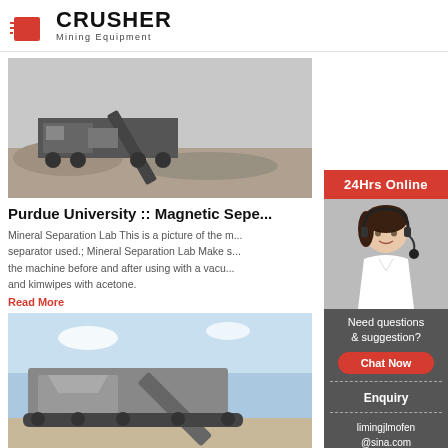[Figure (logo): Crusher Mining Equipment logo with red shopping bag icon and bold CRUSHER text]
[Figure (photo): Large mobile crushing plant/mining equipment at a quarry site with conveyor belt]
Purdue University :: Magnetic Sepe...
Mineral Separation Lab This is a picture of the m... separator used.; Mineral Separation Lab Make s... the machine before and after using with a vacu... and kimwipes with acetone.
Read More
[Figure (photo): Mobile crusher/screening machine outdoors against blue sky]
lab magnetic separator for mineral...
[Figure (infographic): Sidebar with 24Hrs Online header, customer service rep photo with headset, Need questions & suggestion? text, Chat Now button, Enquiry link, limingjlmofen@sina.com email]